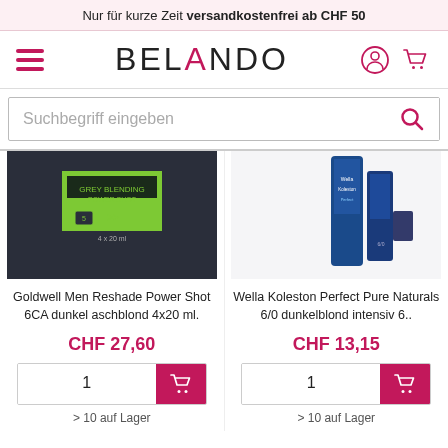Nur für kurze Zeit versandkostenfrei ab CHF 50
[Figure (screenshot): Belando website header with hamburger menu, BELANDO logo, user and cart icons, and a search bar with placeholder 'Suchbegriff eingeben']
[Figure (photo): Goldwell Men Reshade Power Shot product image - dark grey/black box with green label]
[Figure (photo): Wella Koleston Perfect Pure Naturals product image - blue tubes/boxes]
Goldwell Men Reshade Power Shot 6CA dunkel aschblond 4x20 ml.
Wella Koleston Perfect Pure Naturals 6/0 dunkelblond intensiv 6..
CHF 27,60
CHF 13,15
> 10 auf Lager
> 10 auf Lager